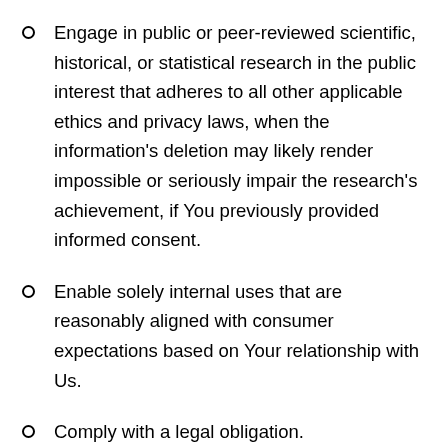Engage in public or peer-reviewed scientific, historical, or statistical research in the public interest that adheres to all other applicable ethics and privacy laws, when the information's deletion may likely render impossible or seriously impair the research's achievement, if You previously provided informed consent.
Enable solely internal uses that are reasonably aligned with consumer expectations based on Your relationship with Us.
Comply with a legal obligation.
Make other internal and lawful uses of that